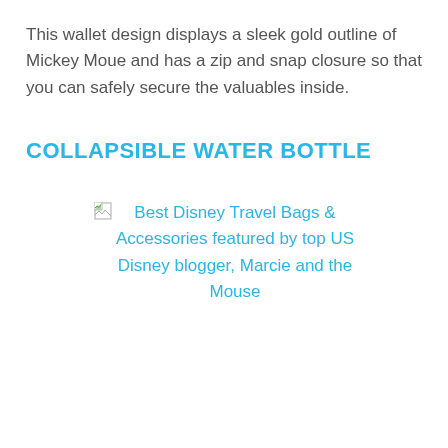This wallet design displays a sleek gold outline of Mickey Moue and has a zip and snap closure so that you can safely secure the valuables inside.
COLLAPSIBLE WATER BOTTLE
[Figure (other): Broken image placeholder with alt text: Best Disney Travel Bags & Accessories featured by top US Disney blogger, Marcie and the Mouse]